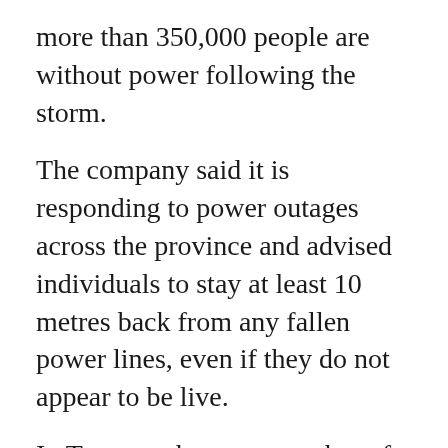more than 350,000 people are without power following the storm.
The company said it is responding to power outages across the province and advised individuals to stay at least 10 metres back from any fallen power lines, even if they do not appear to be live.
In Toronto, the exact number of those without power is unknown as Toronto Hydro’s outage map is unavailable “as a result of the high volume of outages”
In a statement to CP24, the company said it was still assessing the extent of the damage and that equipment broken during the storm could hamper restoration efforts.